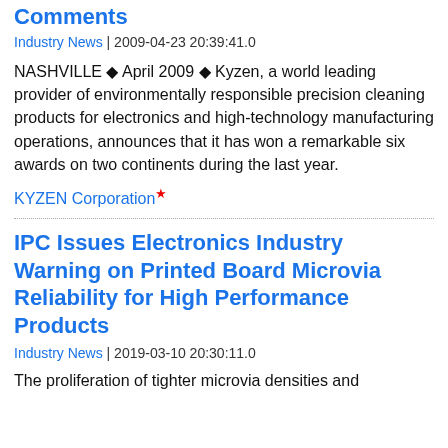Comments
Industry News | 2009-04-23 20:39:41.0
NASHVILLE ◆ April 2009 ◆ Kyzen, a world leading provider of environmentally responsible precision cleaning products for electronics and high-technology manufacturing operations, announces that it has won a remarkable six awards on two continents during the last year.
KYZEN Corporation*
IPC Issues Electronics Industry Warning on Printed Board Microvia Reliability for High Performance Products
Industry News | 2019-03-10 20:30:11.0
The proliferation of tighter microvia densities and